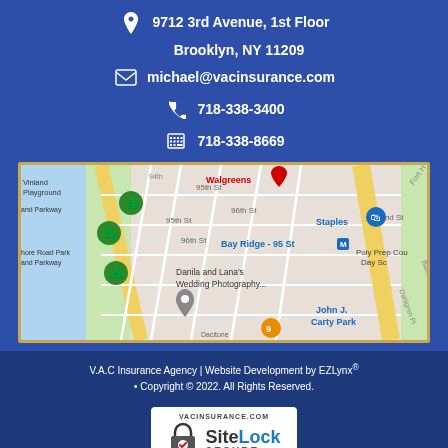9712 3rd Avenue, 1st Floor
Brooklyn, NY 11209
michael@vacinsurance.com
718-338-3400
718-338-8669
[Figure (map): Google Maps screenshot showing Bay Ridge Brooklyn area near 9712 3rd Avenue, showing streets 92nd-96th St, landmarks including Walgreens, Staples, Bay Ridge-95 St subway, Poly Prep Country Day School, Vinland Playground, Shore Road Park and Parkway, Danila and Lana's Wedding Photography, John J. Carty Park]
V.A.C Insurance Agency | Website Development by EZLynx®
• Copyright © 2022. All Rights Reserved.
[Figure (logo): SiteLock SECURE badge with VACINSURANCE.COM text at top, padlock icon with red checkmark, Site in dark text and Lock in blue text, SECURE below]